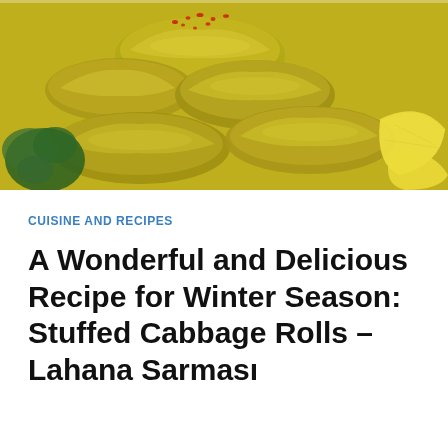[Figure (photo): Close-up photo of stuffed cabbage rolls (Lahana Sarması) on a white plate, garnished with red chili flakes on top, green parsley leaves on the left, and lemon wedges on the right. The cabbage rolls are golden-green and glistening.]
CUISINE AND RECIPES
A Wonderful and Delicious Recipe for Winter Season: Stuffed Cabbage Rolls – Lahana Sarması